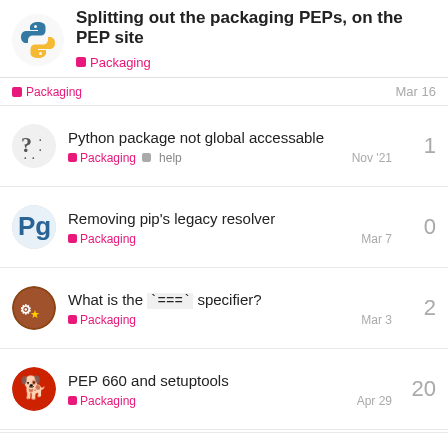Splitting out the packaging PEPs, on the PEP site | Packaging
Packaging — Mar 16
Python package not global accessable — Packaging, help — Nov '21 — replies: 1
Removing pip's legacy resolver — Packaging — Mar 7 — replies: 0
What is the `===` specifier? — Packaging — Mar 3 — replies: 2
PEP 660 and setuptools — Packaging — Apr 29 — replies: 20
Want to read more? Browse other topics in Packaging or view latest topics. 21 / 39